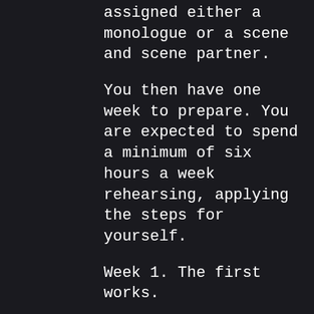assigned either a monologue or a scene and scene partner.
You then have one week to prepare. You are expected to spend a minimum of six hours a week rehearsing, applying the steps for yourself.
Week 1. The first works.
You will perform your scene to the class. Coach Richard will then go through your characters journey with you and offer feedback and instruction on the technique. This will form your homework for Week 2.
Actors then have another week to...